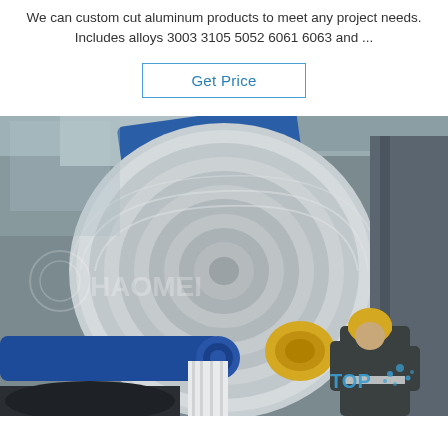We can custom cut aluminum products to meet any project needs. Includes alloys 3003 3105 5052 6061 6063 and ...
Get Price
[Figure (photo): Industrial photo of a worker in a yellow hard hat and dark uniform inspecting a large aluminum coil on a slitting machine inside a factory. Blue machinery arms are visible at the top. A watermark of a company logo and 'TOP' text with water splash icon appears in the bottom-right corner.]